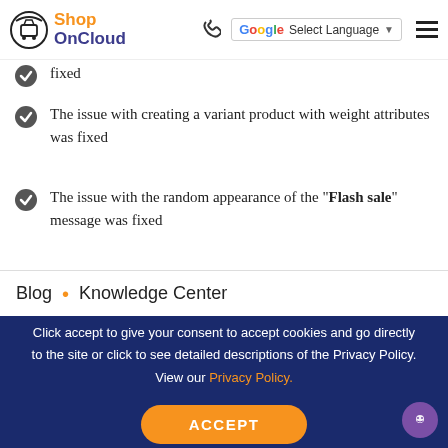ShopOnCloud – logo, phone, Select Language, menu
fixed
The issue with creating a variant product with weight attributes was fixed
The issue with the random appearance of the "Flash sale" message was fixed
Blog • Knowledge Center
Click accept to give your consent to accept cookies and go directly to the site or click to see detailed descriptions of the Privacy Policy. View our Privacy Policy.
ACCEPT